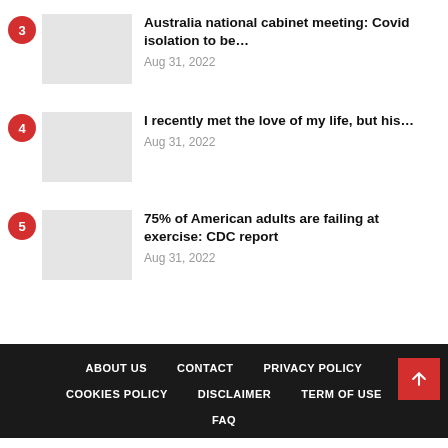3 Australia national cabinet meeting: Covid isolation to be… Aug 31, 2022
4 I recently met the love of my life, but his… Aug 31, 2022
5 75% of American adults are failing at exercise: CDC report Aug 31, 2022
ABOUT US   CONTACT   PRIVACY POLICY   COOKIES POLICY   DISCLAIMER   TERM OF USE   FAQ